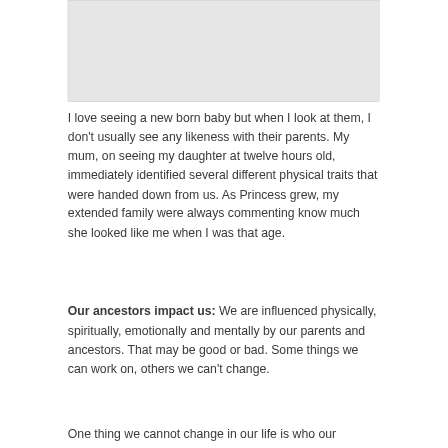[Figure (photo): Blank/placeholder image area at the top of the page]
I love seeing a new born baby but when I look at them, I don't usually see any likeness with their parents. My mum, on seeing my daughter at twelve hours old, immediately identified several different physical traits that were handed down from us. As Princess grew, my extended family were always commenting know much she looked like me when I was that age.
Our ancestors impact us: We are influenced physically, spiritually, emotionally and mentally by our parents and ancestors. That may be good or bad. Some things we can work on, others we can't change.
One thing we cannot change in our life is who our ancestors were. Our parents, grandparents,